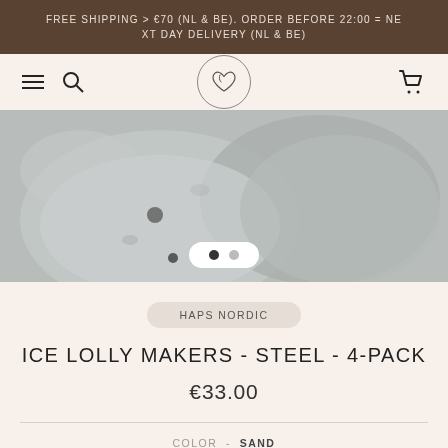FREE SHIPPING > €70 (NL & BE). ORDER BEFORE 22:00 = NEXT DAY DELIVERY (NL & BE)
[Figure (screenshot): E-commerce navigation bar with hamburger menu, search icon, circular logo with heart, and cart icon on a beige background]
[Figure (photo): Close-up photo of steel-colored ice lolly makers with a marble/stone appearance, with a two-dot carousel indicator overlay]
HAPS NORDIC
ICE LOLLY MAKERS - STEEL - 4-PACK
€33.00
COLOR - SAND